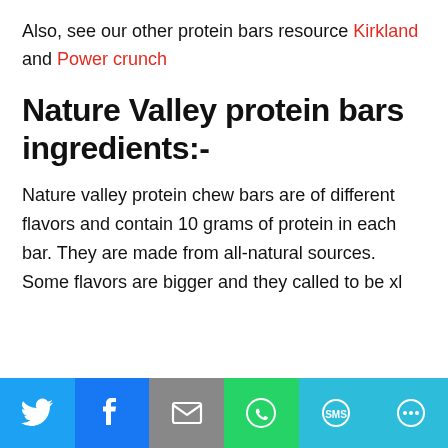Also, see our other protein bars resource Kirkland and Power crunch
Nature Valley protein bars ingredients:-
Nature valley protein chew bars are of different flavors and contain 10 grams of protein in each bar. They are made from all-natural sources. Some flavors are bigger and they called to be xl